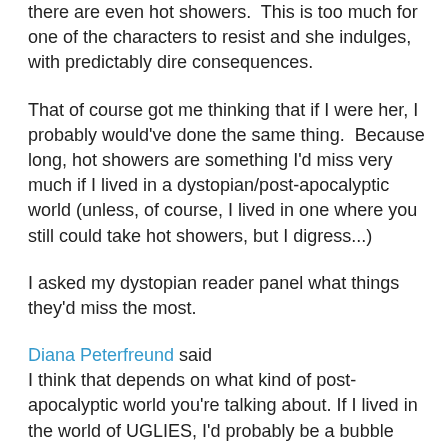there are even hot showers.  This is too much for one of the characters to resist and she indulges, with predictably dire consequences.
That of course got me thinking that if I were her, I probably would've done the same thing.  Because long, hot showers are something I'd miss very much if I lived in a dystopian/post-apocalyptic world (unless, of course, I lived in one where you still could take hot showers, but I digress...)
I asked my dystopian reader panel what things they'd miss the most.
Diana Peterfreund said
I think that depends on what kind of post-apocalyptic world you're talking about. If I lived in the world of UGLIES, I'd probably be a bubble head, so I wouldn't miss much. (Though if I lived in the world of EXTRAS, I'd probably miss any ability to maintain my privacy!) If I lived in THE ROAD, um, I'd miss food, sunlight, my home, you name it! In the world of the Hunger Games, I suppose it would depends if I lived in the Capitol or not (and general freedom, of course).